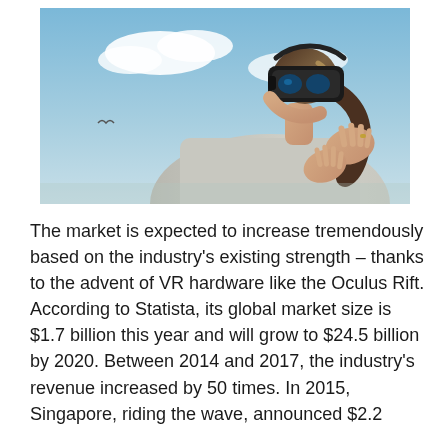[Figure (photo): A woman wearing a VR headset (virtual reality goggles), dressed in a gray hoodie, with hands raised, set against a blue sky with clouds. The photo is taken from a side/three-quarter angle.]
The market is expected to increase tremendously based on the industry's existing strength – thanks to the advent of VR hardware like the Oculus Rift. According to Statista, its global market size is $1.7 billion this year and will grow to $24.5 billion by 2020. Between 2014 and 2017, the industry's revenue increased by 50 times. In 2015, Singapore, riding the wave, announced $2.2